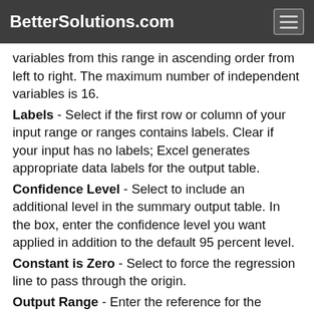BetterSolutions.com
variables from this range in ascending order from left to right. The maximum number of independent variables is 16.
Labels - Select if the first row or column of your input range or ranges contains labels. Clear if your input has no labels; Excel generates appropriate data labels for the output table.
Confidence Level - Select to include an additional level in the summary output table. In the box, enter the confidence level you want applied in addition to the default 95 percent level.
Constant is Zero - Select to force the regression line to pass through the origin.
Output Range - Enter the reference for the upper-left cell of the output table. Allow at least seven columns for the summary output table, which includes an anova table,